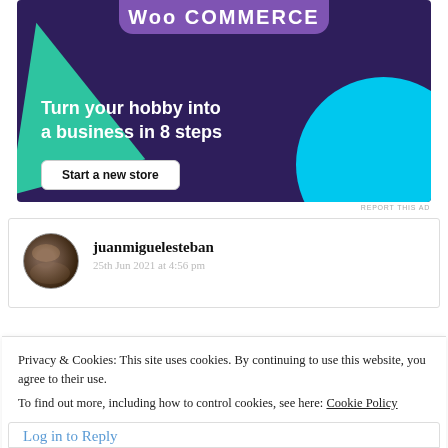[Figure (illustration): WooCommerce advertisement banner with purple background, green triangle shape, cyan circle shape, WooCommerce logo at top, headline 'Turn your hobby into a business in 8 steps', and a 'Start a new store' button]
REPORT THIS AD
juanmiguelesteban
25th Jun 2021 at 4:56 pm
Privacy & Cookies: This site uses cookies. By continuing to use this website, you agree to their use.
To find out more, including how to control cookies, see here: Cookie Policy
Close and accept
Log in to Reply